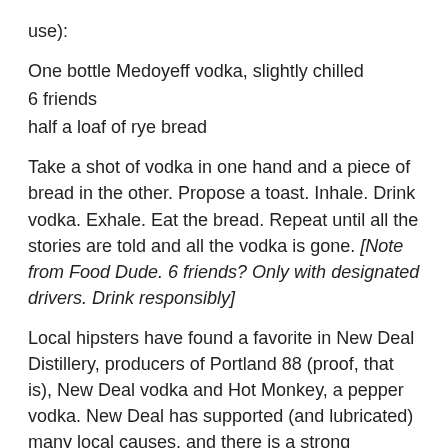use):
One bottle Medoyeff vodka, slightly chilled
6 friends
half a loaf of rye bread
Take a shot of vodka in one hand and a piece of bread in the other. Propose a toast. Inhale. Drink vodka. Exhale. Eat the bread. Repeat until all the stories are told and all the vodka is gone. [Note from Food Dude. 6 friends? Only with designated drivers. Drink responsibly]
Local hipsters have found a favorite in New Deal Distillery, producers of Portland 88 (proof, that is), New Deal vodka and Hot Monkey, a pepper vodka. New Deal has supported (and lubricated) many local causes, and there is a strong proletariat vibe going on with that company. The manifesto on their website states, “I want my vodka. You don’t like it make your own goddamn